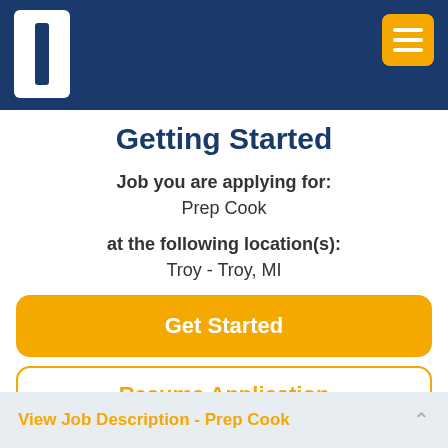[Figure (screenshot): Navigation bar with white logo box containing dark blue vertical bar icon, and orange hamburger menu button on the right]
Getting Started
Job you are applying for:
Prep Cook
at the following location(s):
Troy - Troy, MI
Get Started
Resume Application
View Job Description - Prep Cook